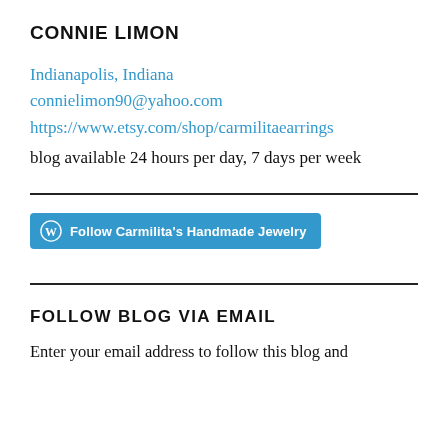CONNIE LIMON
Indianapolis, Indiana
connielimon90@yahoo.com
https://www.etsy.com/shop/carmilitaearrings
blog available 24 hours per day, 7 days per week
[Figure (other): WordPress Follow button: 'Follow Carmilita's Handmade Jewelry' in teal/cyan background with WordPress logo icon]
FOLLOW BLOG VIA EMAIL
Enter your email address to follow this blog and